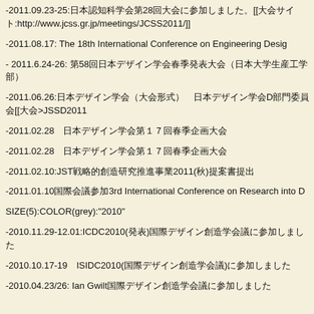-2011.09.23-25:日本認知科学会第28回大会に参加しました。[[大会サイト:http://www.jcss.gr.jp/meetings/JCSS2011/]]
-2011.08.17: The 18th International Conference on Engineering Design
- 2011.6.24-26: 第58回日本デザイン学会春季発表大会（日本大学生産工学部）
-2011.06.26:日本デザイン学会（大会形式） 日本デザイン学会D部門委員会[[大会>JSSD2011
-2011.02.28　日本デザイン学会第１７回春季企画大会
-2011.02.28　日本デザイン学会第１７回春季企画大会
-2011.02.10:JST戦略的創造研究推進事業2011(秋)提案書提出
-2011.01.10国際会議参加3rd International Conference on Research into D
SIZE(5):COLOR(grey):"2010"
-2010.11.29-12.01:ICDC2010(発表)国際デザイン創造学会議に参加しました
-2010.10.17-19　ISIDC2010(国際デザイン創造学会議)に参加しました
-2010.04.23/26: Ian Gwilt国際デザイン創造学会議